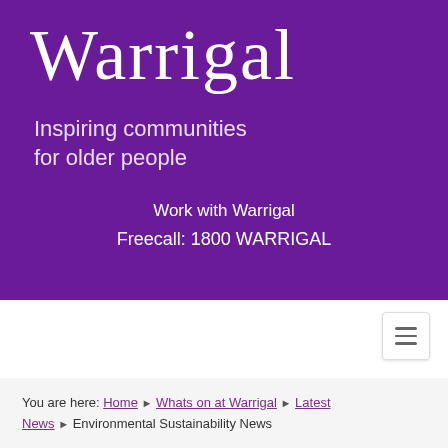Warrigal
Inspiring communities for older people
Work with Warrigal
Freecall: 1800 WARRIGAL
You are here: Home ▶ Whats on at Warrigal ▶ Latest News ▶ Environmental Sustainability News